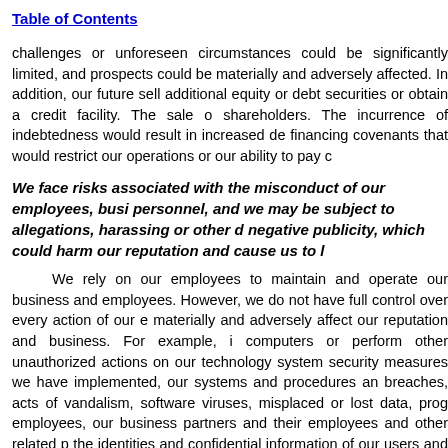Table of Contents
challenges or unforeseen circumstances could be significantly limited, and our future prospects could be materially and adversely affected. In addition, our future sell additional equity or debt securities or obtain a credit facility. The sale o shareholders. The incurrence of indebtedness would result in increased de financing covenants that would restrict our operations or our ability to pay c
We face risks associated with the misconduct of our employees, busi personnel, and we may be subject to allegations, harassing or other d negative publicity, which could harm our reputation and cause us to l
We rely on our employees to maintain and operate our business and employees. However, we do not have full control over every action of our e materially and adversely affect our reputation and business. For example, i computers or perform other unauthorized actions on our technology system security measures we have implemented, our systems and procedures an breaches, acts of vandalism, software viruses, misplaced or lost data, prog employees, our business partners and their employees and other related p the identities and confidential information of our users and personnel. If an perception of the effectiveness of our security measures could be harmed, exposed to legal and financial risks, including those from legal claims, regu our business, reputation and results of operations.
With respect to employees, we could also in the future face a wide v gender, age, race or religious affiliation), sexual harassment, privacy, labor factual and legal issues, and the result of any such claims are inherently un could require significant amounts of management time and corporate reso